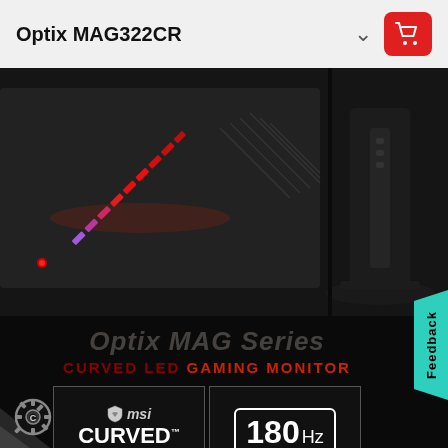Optix MAG322CR
[Figure (photo): Close-up photo of MSI Optix MAG322CR curved gaming monitor showing RGB LED lighting strip on the back left side and the monitor stand on the right, dark background]
Optix MAG Series
CURVED LED GAMING MONITOR
[Figure (logo): MSI Curved Gaming logo badge with dragon shield icon, text reading 'msi CURVED GAMING']
[Figure (logo): 180Hz badge logo in white rounded rectangle]
Feedback